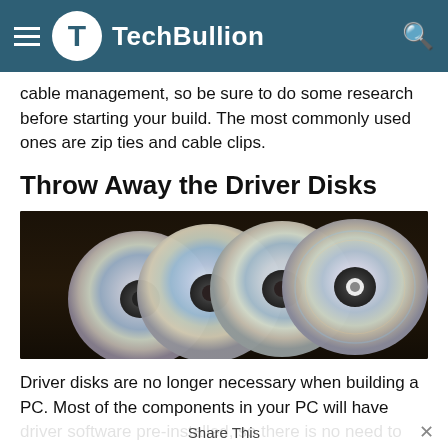TechBullion
cable management, so be sure to do some research before starting your build. The most commonly used ones are zip ties and cable clips.
Throw Away the Driver Disks
[Figure (photo): Four shiny silver CDs/DVDs stacked slightly apart on a dark wooden surface]
Driver disks are no longer necessary when building a PC. Most of the components in your PC will have driver software pre-installed, so there is no need to worry about finding and installing drivers manually. If you do happen to